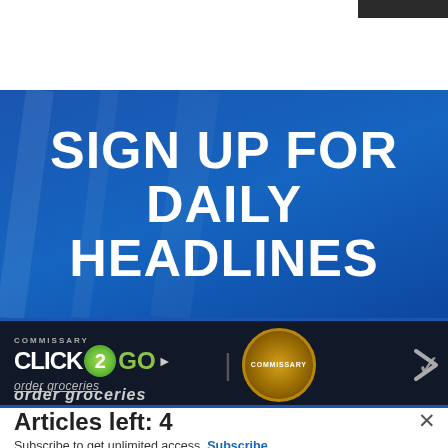[Figure (screenshot): Small dark thumbnail image in top right corner]
SIGN UP FOR DAILY HEADLINES
[Figure (screenshot): Commissary Click2GO advertisement banner with green logo and Commissary badge, showing order groceries text]
Articles left: 4
Subscribe to get unlimited access  Subscribe
Already have an account?  Login here